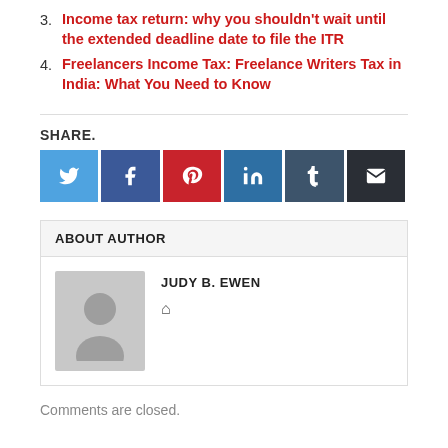3. Income tax return: why you shouldn't wait until the extended deadline date to file the ITR
4. Freelancers Income Tax: Freelance Writers Tax in India: What You Need to Know
SHARE.
[Figure (other): Social share buttons: Twitter, Facebook, Pinterest, LinkedIn, Tumblr, Email]
ABOUT AUTHOR
[Figure (photo): Generic user avatar placeholder in grey]
JUDY B. EWEN
Comments are closed.